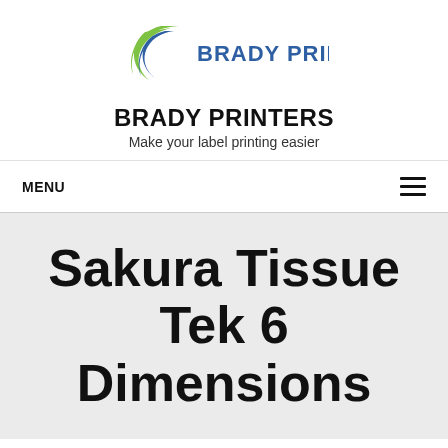[Figure (logo): Brady Printers logo with a green and blue crescent arc shape on the left and 'BRADY PRINTERS' text in bold dark navy blue on the right]
BRADY PRINTERS
Make your label printing easier
MENU
Sakura Tissue Tek 6 Dimensions